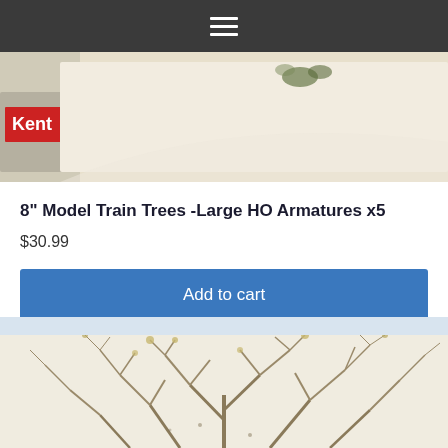[Figure (screenshot): Top navigation bar with hamburger menu icon on dark gray background]
[Figure (photo): Product photo showing model train tree armatures on a light background with a red Kent can visible at left]
8" Model Train Trees -Large HO Armatures x5
$30.99
Add to cart
[Figure (photo): Product photo showing bare tree armatures with branches, resembling natural dried plants]